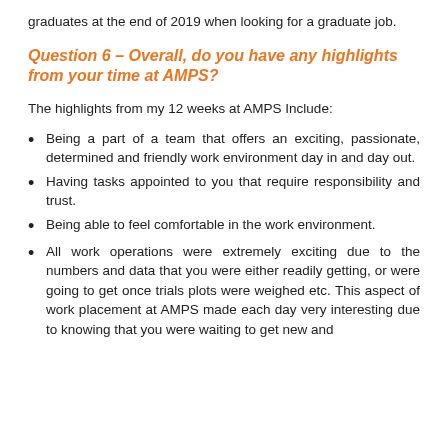graduates at the end of 2019 when looking for a graduate job.
Question 6 – Overall, do you have any highlights from your time at AMPS?
The highlights from my 12 weeks at AMPS Include:
Being a part of a team that offers an exciting, passionate, determined and friendly work environment day in and day out.
Having tasks appointed to you that require responsibility and trust.
Being able to feel comfortable in the work environment.
All work operations were extremely exciting due to the numbers and data that you were either readily getting, or were going to get once trials plots were weighed etc. This aspect of work placement at AMPS made each day very interesting due to knowing that you were waiting to get new and